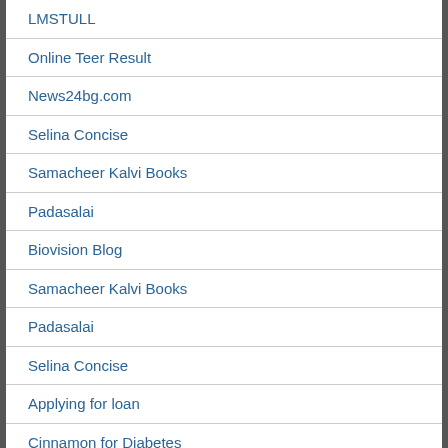LMSTULL
Online Teer Result
News24bg.com
Selina Concise
Samacheer Kalvi Books
Padasalai
Biovision Blog
Samacheer Kalvi Books
Padasalai
Selina Concise
Applying for loan
Cinnamon for Diabetes
First party vis third party
Financial Stress
Udyami Yojana